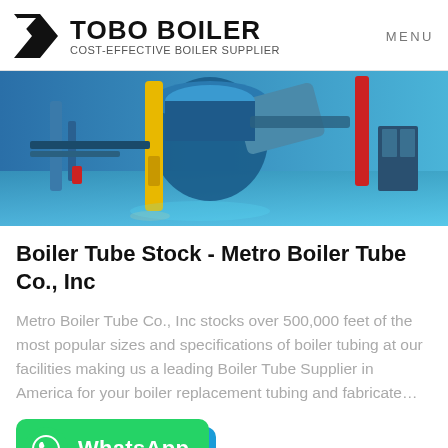[Figure (logo): Tobo Boiler logo with black geometric icon and text 'TOBO BOILER / COST-EFFECTIVE BOILER SUPPLIER']
MENU
[Figure (photo): Industrial boiler room with large blue machinery, yellow pipes, red piping, and industrial equipment on a blue-tinted floor]
Boiler Tube Stock - Metro Boiler Tube Co., Inc
Metro Boiler Tube Co., Inc stocks over 500,000 feet of the most popular sizes and specifications of boiler tubing at our facilities making us a leading Boiler Tube Supplier in America for your boiler replacement tubing and fabricate…
[Figure (screenshot): WhatsApp contact button in green with WhatsApp icon and text 'WhatsApp', with a blue button partially visible behind it]